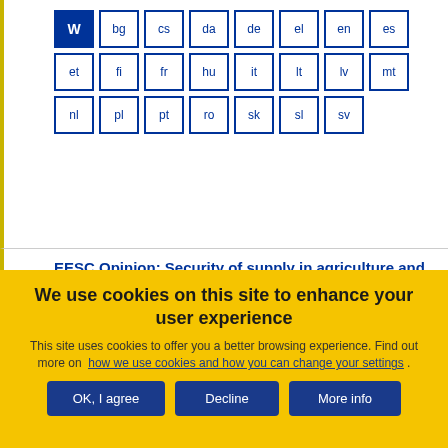Language buttons: W, bg, cs, da, de, el, en, es, et, fi, fr, hu, it, lt, lv, mt, nl, pl, pt, ro, sk, sl, sv
EESC Opinion: Security of supply in agriculture and the food sector in the EU
Opinion
Usvojeno on 09/12/2010
Referentni dokument: NAT/468-EESC-2010-1622
We use cookies on this site to enhance your user experience
This site uses cookies to offer you a better browsing experience. Find out more on how we use cookies and how you can change your settings .